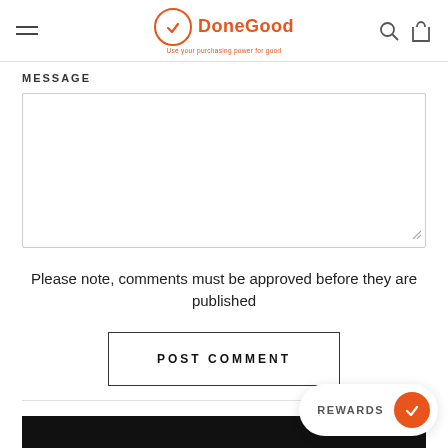DoneGood — Use your purchasing power for good
MESSAGE
[Figure (other): Empty textarea input box for message]
Please note, comments must be approved before they are published
POST COMMENT
REWARDS